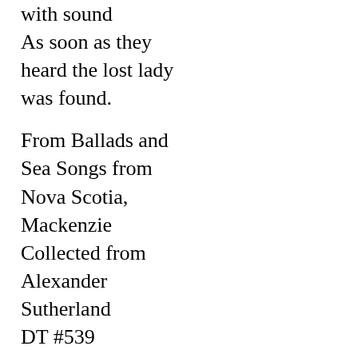with sound
As soon as they heard the lost lady was found.
From Ballads and Sea Songs from Nova Scotia, Mackenzie
Collected from Alexander Sutherland
DT #539
Laws Q31
@abduction
@rescue
filename[
LOSTLADY
TUNE FILE:
LOSTLADY
CLICK TO PLAY
RG
oct96
Popup Midi